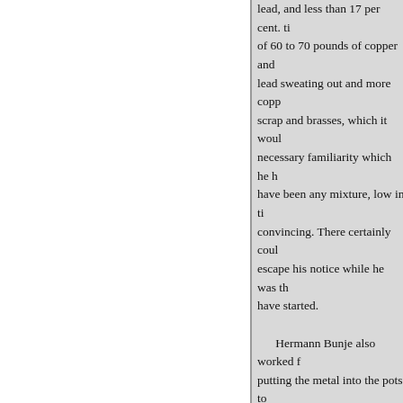lead, and less than 17 per cent. ti of 60 to 70 pounds of copper and lead sweating out and more copp scrap and brasses, which it woul necessary familiarity which he h have been any mixture, low in ti convincing. There certainly coul escape his notice while he was th have started. Hermann Bunje also worked f putting the metal into the pots to of copper, 15 of tin, and 15 of le mixture of 77 of copper, 13 of le than v pounds of tin, in a 100-po bearings or brasses, with the latt sometimes sheet copper and shel not turn out well and was not cor an experienced molder, already s of 1899 by the Brady Brass Com more than 15 per cent. of lead in have been given. But he only wo correspondingly limited; the valu